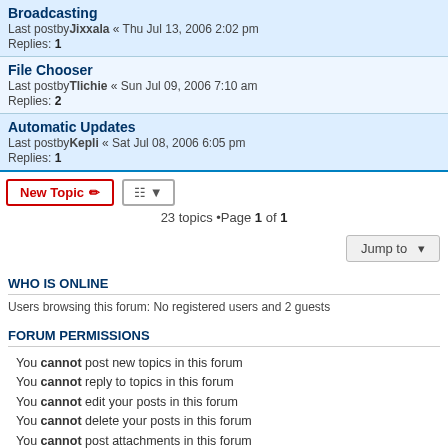Broadcasting
Last postby Jixxala « Thu Jul 13, 2006 2:02 pm
Replies: 1
File Chooser
Last postby Tlichie « Sun Jul 09, 2006 7:10 am
Replies: 2
Automatic Updates
Last postby Kepli « Sat Jul 08, 2006 6:05 pm
Replies: 1
23 topics •Page 1 of 1
Jump to
WHO IS ONLINE
Users browsing this forum: No registered users and 2 guests
FORUM PERMISSIONS
You cannot post new topics in this forum
You cannot reply to topics in this forum
You cannot edit your posts in this forum
You cannot delete your posts in this forum
You cannot post attachments in this forum
Board index   All times are UTC-03:00
Powered by phpBB® Forum Software © phpBB Limited